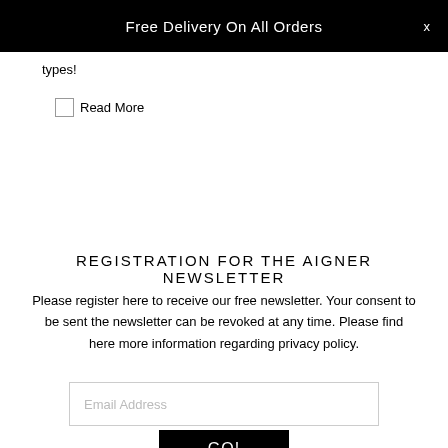Free Delivery On All Orders  x
types!
Read More
REGISTRATION FOR THE AIGNER NEWSLETTER
Please register here to receive our free newsletter. Your consent to be sent the newsletter can be revoked at any time. Please find here more information regarding privacy policy.
Email Address
GO!